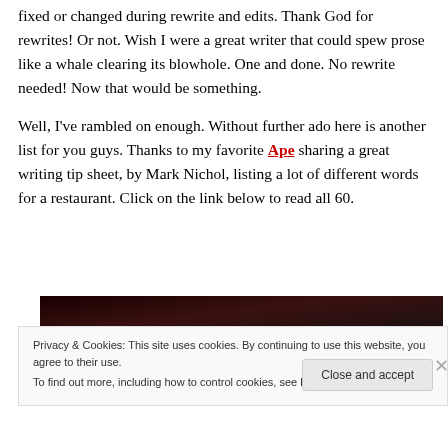fixed or changed during rewrite and edits. Thank God for rewrites! Or not. Wish I were a great writer that could spew prose like a whale clearing its blowhole. One and done. No rewrite needed! Now that would be something.
Well, I've rambled on enough. Without further ado here is another list for you guys. Thanks to my favorite Ape sharing a great writing tip sheet, by Mark Nichol, listing a lot of different words for a restaurant. Click on the link below to read all 60.
[Figure (photo): Dark image strip, primarily black with reddish-brown tones]
Privacy & Cookies: This site uses cookies. By continuing to use this website, you agree to their use.
To find out more, including how to control cookies, see here: Cookie Policy